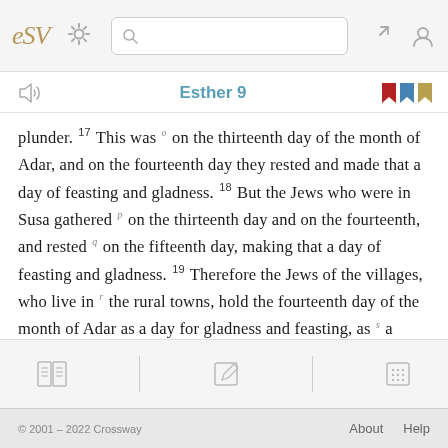ESV Bible app top navigation bar with logo, gear, search, expand and user icons
Esther 9
plunder. 17 This was on the thirteenth day of the month of Adar, and on the fourteenth day they rested and made that a day of feasting and gladness. 18 But the Jews who were in Susa gathered on the thirteenth day and on the fourteenth, and rested on the fifteenth day, making that a day of feasting and gladness. 19 Therefore the Jews of the villages, who live in the rural towns, hold the fourteenth day of the month of Adar as a day for gladness and feasting, as a
© 2001 – 2022 Crossway    About    Help